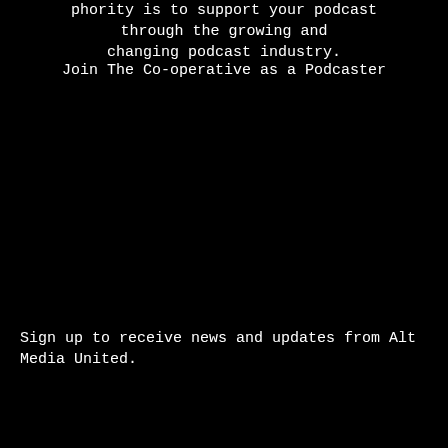phority is to support your podcast through the growing and changing podcast industry.
Join The Co-operative as a Podcaster
Sign up to receive news and updates from Alt Media United.